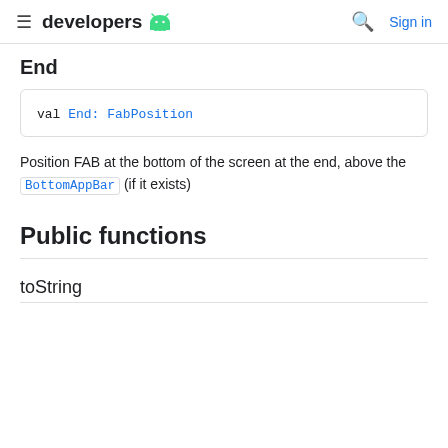≡ developers [android logo] 🔍 Sign in
End
val End: FabPosition
Position FAB at the bottom of the screen at the end, above the BottomAppBar (if it exists)
Public functions
toString